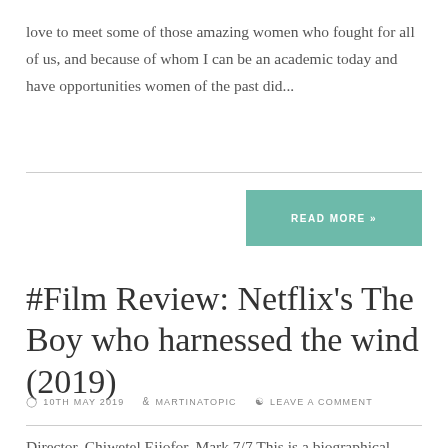love to meet some of those amazing women who fought for all of us, and because of whom I can be an academic today and have opportunities women of the past did...
READ MORE »
#Film Review: Netflix's The Boy who harnessed the wind (2019)
10TH MAY 2019   MARTINATOPIC   LEAVE A COMMENT
Director, Chiwetel Ejiofor. Mark 7/7 This is a biographical drama...